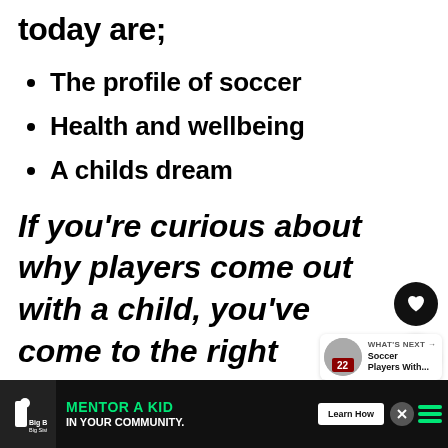today are;
The profile of soccer
Health and wellbeing
A childs dream
If you're curious about why players come out with a child, you've come to the right place.